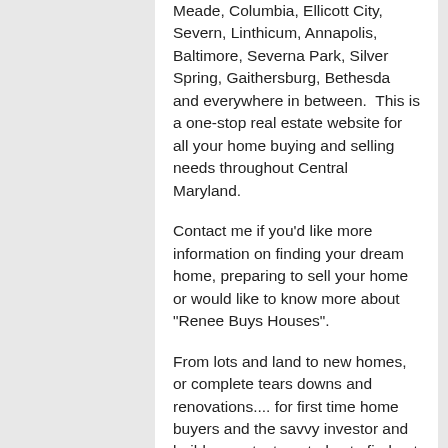Meade, Columbia, Ellicott City, Severn, Linthicum, Annapolis, Baltimore, Severna Park, Silver Spring, Gaithersburg, Bethesda and everywhere in between.  This is a one-stop real estate website for all your home buying and selling needs throughout Central Maryland.
Contact me if you'd like more information on finding your dream home, preparing to sell your home or would like to know more about "Renee Buys Houses".
From lots and land to new homes, or complete tears downs and renovations.... for first time home buyers and the savvy investor and builder, contact me today to find out how I can better serve you when looking to buy or